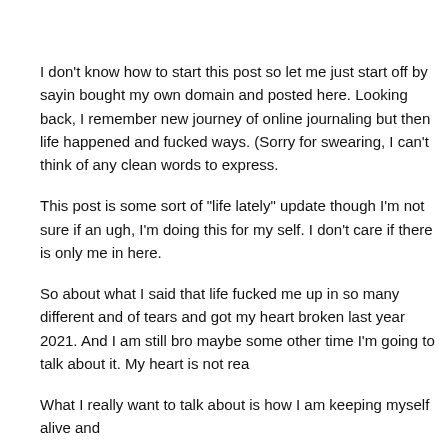I don't know how to start this post so let me just start off by saying I bought my own domain and posted here. Looking back, I remember starting a new journey of online journaling but then life happened and fucked me up in ways. (Sorry for swearing, I can't think of any clean words to express.
This post is some sort of "life lately" update though I'm not sure if an ugh, I'm doing this for my self. I don't care if there is only me in here.
So about what I said that life fucked me up in so many different and of tears and got my heart broken last year 2021. And I am still bro maybe some other time I'm going to talk about it. My heart is not rea
What I really want to talk about is how I am keeping myself alive and
I rediscovered hobbies and interests I loved doing and I am so than case you are wondering, no I am not talking about alcohol or drugs, and listening to music.
I've been starting to binge read again and drown my self with music still a broken mess but it comforts me to know that instead of cryin put my earphones on.